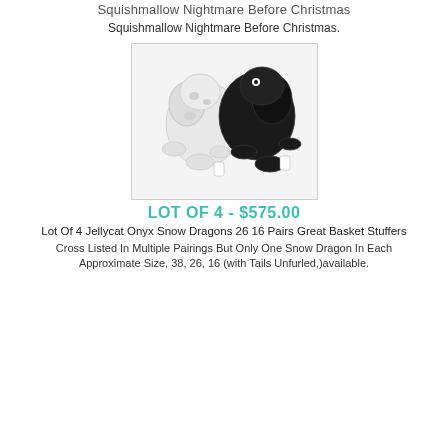Squishmallow Nightmare Before Christmas
Squishmallow Nightmare Before Christmas.
[Figure (photo): Two Jellycat Snow Dragon plush toys, one white and one black, posed together on a white background.]
LOT OF 4 - $575.00
Lot Of 4 Jellycat Onyx Snow Dragons 26 16 Pairs Great Basket Stuffers
Cross Listed In Multiple Pairings But Only One Snow Dragon In Each Approximate Size, 38, 26, 16 (with Tails Unfurled,)available.